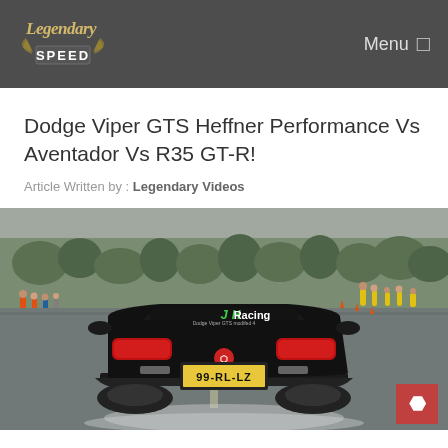Legendary Speed | Menu
Dodge Viper GTS Heffner Performance Vs Aventador Vs R35 GT-R!
Article Written by : Legendary Videos
[Figure (photo): Rear view of a black Dodge Viper GTS with JH Racing livery on the rear window, Dutch license plate 99-RL-LZ, on a drag strip with spectators visible in the background.]